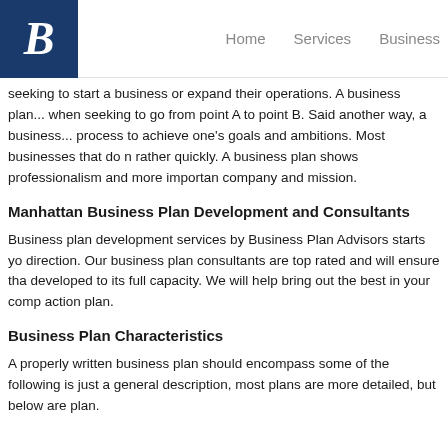B | Home   Services   Business
seeking to start a business or expand their operations. A business plan... when seeking to go from point A to point B. Said another way, a business... process to achieve one's goals and ambitions. Most businesses that do not have a plan fail rather quickly. A business plan shows professionalism and more importantly conveys the company and mission.
Manhattan Business Plan Development and Consultants
Business plan development services by Business Plan Advisors starts you off in the right direction. Our business plan consultants are top rated and will ensure that your plan is developed to its full capacity. We will help bring out the best in your company and create an action plan.
Business Plan Characteristics
A properly written business plan should encompass some of the following... this is just a general description, most plans are more detailed, but below are the keys to a plan.